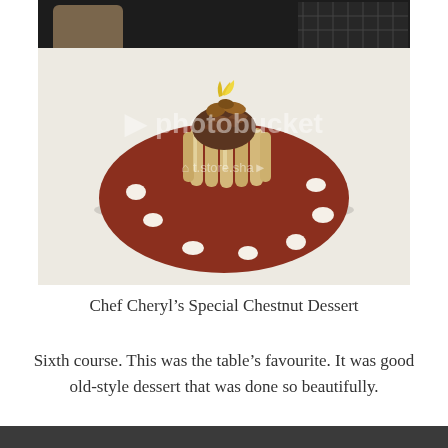[Figure (photo): A plated chestnut dessert on a round dark red/brown sauce-covered plate with white cream dots around the edge. The dessert consists of finger biscuits arranged in a cylinder shape filled with chestnut cream, topped with chocolate/chestnut cream swirls, caramelized chestnuts, and a yellow sugar decoration. Restaurant setting with wine rack visible in background. Photobucket watermark visible.]
Chef Cheryl's Special Chestnut Dessert
Sixth course. This was the table's favourite. It was good old-style dessert that was done so beautifully.